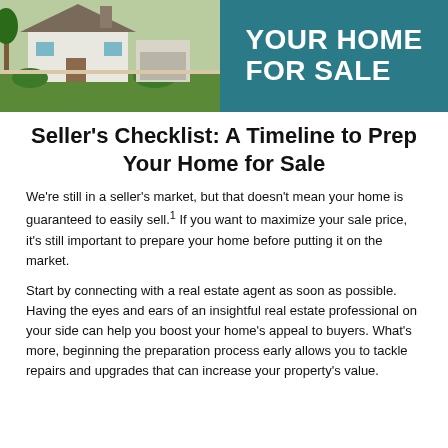[Figure (photo): Banner image with a house photo on the left and teal background with text 'YOUR HOME FOR SALE' on the right]
Seller's Checklist: A Timeline to Prep Your Home for Sale
We're still in a seller's market, but that doesn't mean your home is guaranteed to easily sell.1 If you want to maximize your sale price, it's still important to prepare your home before putting it on the market.
Start by connecting with a real estate agent as soon as possible. Having the eyes and ears of an insightful real estate professional on your side can help you boost your home's appeal to buyers. What's more, beginning the preparation process early allows you to tackle repairs and upgrades that can increase your property's value.